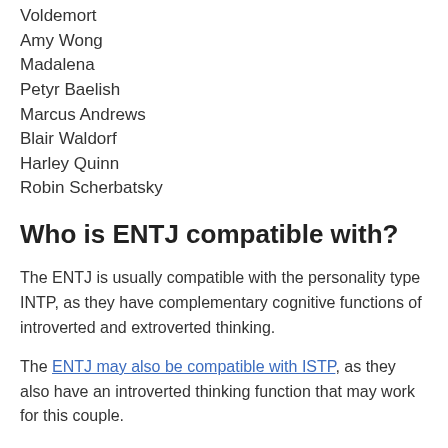Voldemort
Amy Wong
Madalena
Petyr Baelish
Marcus Andrews
Blair Waldorf
Harley Quinn
Robin Scherbatsky
Who is ENTJ compatible with?
The ENTJ is usually compatible with the personality type INTP, as they have complementary cognitive functions of introverted and extroverted thinking.
The ENTJ may also be compatible with ISTP, as they also have an introverted thinking function that may work for this couple.
How common is Entj?